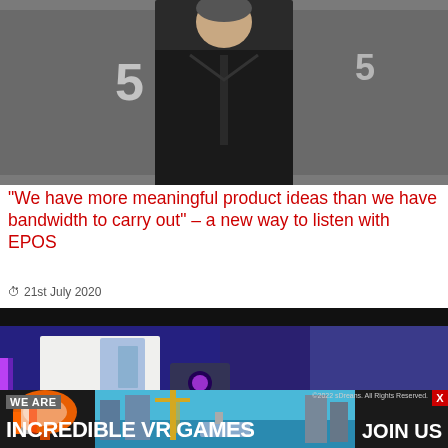[Figure (photo): Black and white photo of a person in dark jacket standing in front of sports imagery with number 5 visible]
“We have more meaningful product ideas than we have bandwidth to carry out” – a new way to listen with EPOS
21st July 2020
[Figure (photo): Interior photo of a dark room with purple/blue lighting, featuring recording or testing equipment, purple LED lights on the left side]
[Figure (infographic): Advertisement banner: WE ARE INCREDIBLE VR GAMES with JOIN US button and game imagery]